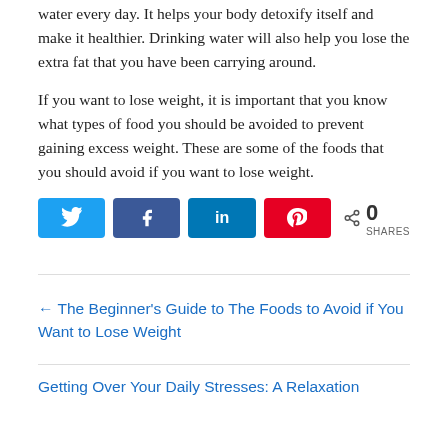water every day. It helps your body detoxify itself and make it healthier. Drinking water will also help you lose the extra fat that you have been carrying around.
If you want to lose weight, it is important that you know what types of food you should be avoided to prevent gaining excess weight. These are some of the foods that you should avoid if you want to lose weight.
[Figure (infographic): Social sharing buttons: Twitter (blue), Facebook (dark blue), LinkedIn (blue), Pinterest (red), and a share count showing 0 SHARES]
← The Beginner's Guide to The Foods to Avoid if You Want to Lose Weight
Getting Over Your Daily Stresses: A Relaxation